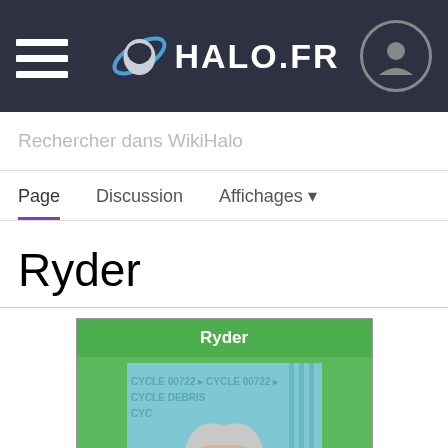HALO.FR
Rechercher dans WikiHalo
Page | Discussion | Affichages
Ryder
[Figure (illustration): Infobox card for character 'Ryder' with green background and comic-style illustration of a grey-haired man in tactical armor, with background text reading CYCLE 00722 and CYCLE DEBRIS.]